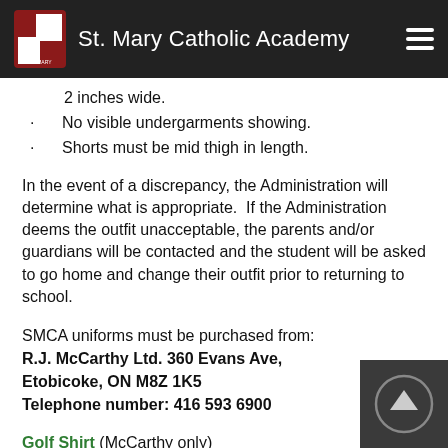St. Mary Catholic Academy
2 inches wide.
No visible undergarments showing.
Shorts must be mid thigh in length.
In the event of a discrepancy, the Administration will determine what is appropriate.  If the Administration deems the outfit unacceptable, the parents and/or guardians will be contacted and the student will be asked to go home and change their outfit prior to returning to school.
SMCA uniforms must be purchased from: R.J. McCarthy Ltd. 360 Evans Ave, Etobicoke, ON M8Z 1K5 Telephone number: 416 593 6900
Golf Shirt (McCarthy only) St. Mary's crested, blue or white, long or